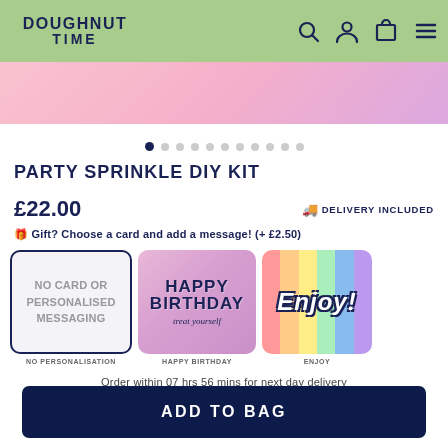DOUGHNUT TIME
[Figure (photo): Product photo strip showing pink and pastel colored doughnuts background]
[Figure (other): Carousel dot indicators, 11 dots total, first dot active/filled]
PARTY SPRINKLE DIY KIT
£22.00   🚚 DELIVERY INCLUDED
🎁 Gift? Choose a card and add a message! (+ £2.50)
[Figure (other): Card selection options: NO CARD OR PERSONALISED MESSAGING (selected), HAPPY BIRTHDAY card, ENJOY card]
NO PERSONALISATION   HAPPY BIRTHDAY   ENJOY
Order within 07 hrs 56 mins for next day delivery
ADD TO BAG